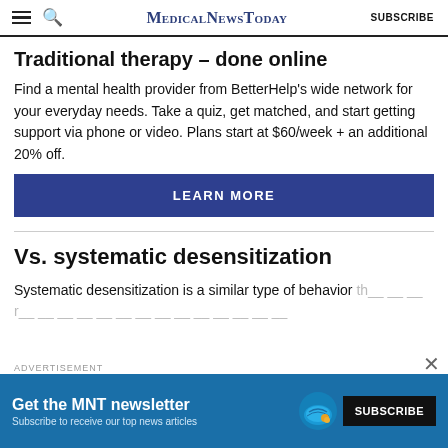MedicalNewsToday SUBSCRIBE
Traditional therapy – done online
Find a mental health provider from BetterHelp's wide network for your everyday needs. Take a quiz, get matched, and start getting support via phone or video. Plans start at $60/week + an additional 20% off.
LEARN MORE
Vs. systematic desensitization
Systematic desensitization is a similar type of behavior therapy that…
ADVERTISEMENT
Get the MNT newsletter Subscribe to receive our top news articles. SUBSCRIBE